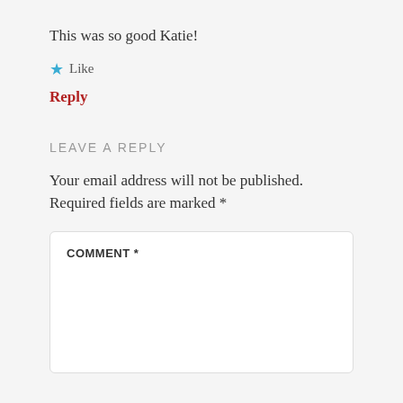This was so good Katie!
★ Like
Reply
LEAVE A REPLY
Your email address will not be published. Required fields are marked *
COMMENT *